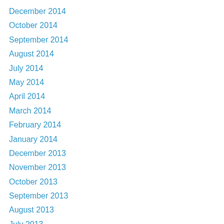December 2014
October 2014
September 2014
August 2014
July 2014
May 2014
April 2014
March 2014
February 2014
January 2014
December 2013
November 2013
October 2013
September 2013
August 2013
July 2013
June 2013
May 2013
April 2013
March 2013